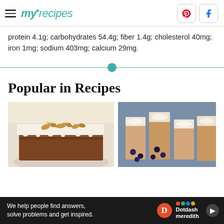myrecipes
protein 4.1g; carbohydrates 54.4g; fiber 1.4g; cholesterol 40mg; iron 1mg; sodium 403mg; calcium 29mg.
Popular in Recipes
[Figure (photo): Slice of carrot or spice cake with white frosting and nuts on top]
[Figure (photo): Close-up of baked dessert bars with cream and blueberries]
We help people find answers, solve problems and get inspired. Dotdash meredith